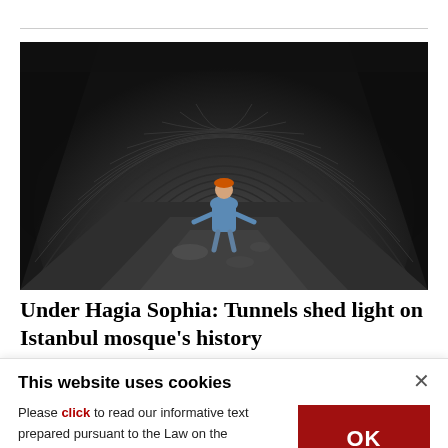[Figure (photo): A person in a blue shirt and orange hat stands inside a narrow ancient brick tunnel with a vaulted arched ceiling, stretching into darkness. The tunnel is built from layered flat stone or brick in a herringbone-like pattern.]
Under Hagia Sophia: Tunnels shed light on Istanbul mosque's history
This website uses cookies
Please click to read our informative text prepared pursuant to the Law on the Protection of Personal Data No. 6698 and to get information about the cookies used on our